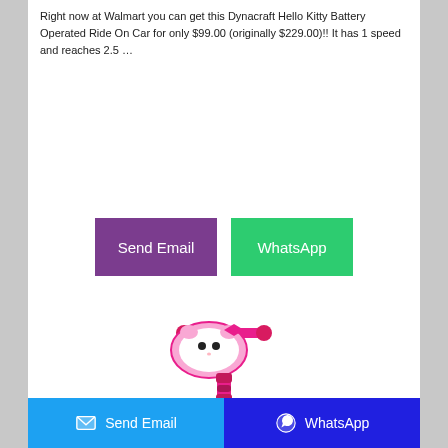Right now at Walmart you can get this Dynacraft Hello Kitty Battery Operated Ride On Car for only $99.00 (originally $229.00)!! It has 1 speed and reaches 2.5 …
[Figure (other): Two share buttons: a purple 'Send Email' button and a green 'WhatsApp' button]
[Figure (photo): Photo of a pink Hello Kitty themed ride-on toy/scooter with handle and base, partially visible]
Send Email   WhatsApp